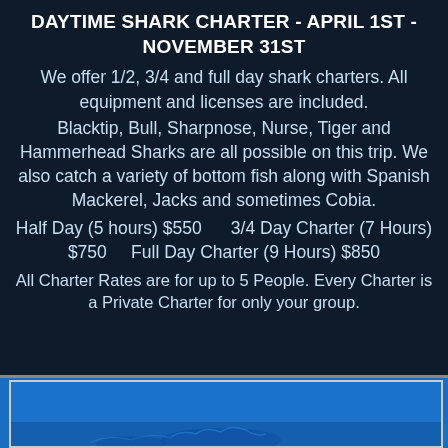DAYTIME SHARK CHARTER - APRIL 1ST - NOVEMBER 31ST
We offer 1/2, 3/4 and full day shark charters. All equipment and licenses are included.
Blacktip, Bull, Sharpnose, Nurse, Tiger and Hammerhead Sharks are all possible on this trip. We also catch a variety of bottom fish along with Spanish Mackerel, Jacks and sometimes Cobia.
Half Day (5 hours) $550    3/4 Day Charter (7 Hours) $750    Full Day Charter (9 Hours) $850
All Charter Rates are for up to 5 People. Every Charter is a Private Charter for only your group.
[Figure (photo): Blue water ocean/shark fishing photo, partially visible at bottom of page]